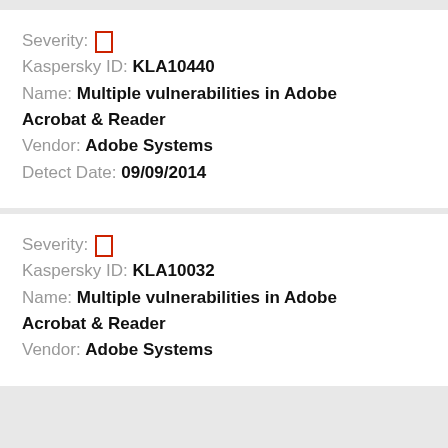Severity: [] Kaspersky ID: KLA10440 Name: Multiple vulnerabilities in Adobe Acrobat & Reader Vendor: Adobe Systems Detect Date: 09/09/2014
Severity: [] Kaspersky ID: KLA10032 Name: Multiple vulnerabilities in Adobe Acrobat & Reader Vendor: Adobe Systems